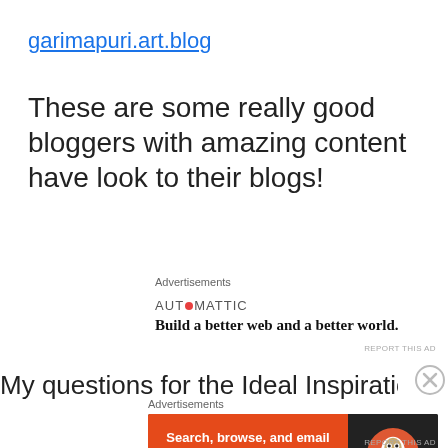garimapuri.art.blog
These are some really good bloggers with amazing content have look to their blogs!
Advertisements
[Figure (logo): Automattic logo with tagline: Build a better web and a better world.]
REPORT THIS AD
My questions for the Ideal Inspiration
Advertisements
[Figure (screenshot): DuckDuckGo advertisement banner: Search, browse, and email with more privacy. All in One Free App.]
REPORT THIS AD